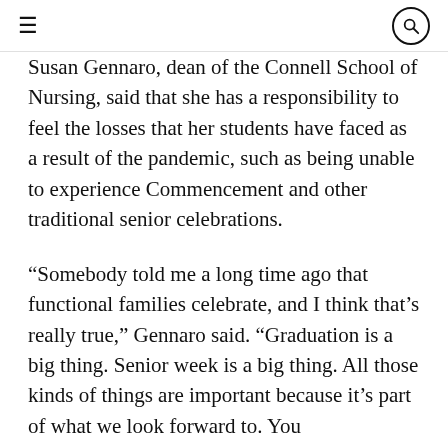≡  🔍
Susan Gennaro, dean of the Connell School of Nursing, said that she has a responsibility to feel the losses that her students have faced as a result of the pandemic, such as being unable to experience Commencement and other traditional senior celebrations.
“Somebody told me a long time ago that functional families celebrate, and I think that’s really true,” Gennaro said. “Graduation is a big thing. Senior week is a big thing. All those kinds of things are important because it’s part of what we look forward to. You…